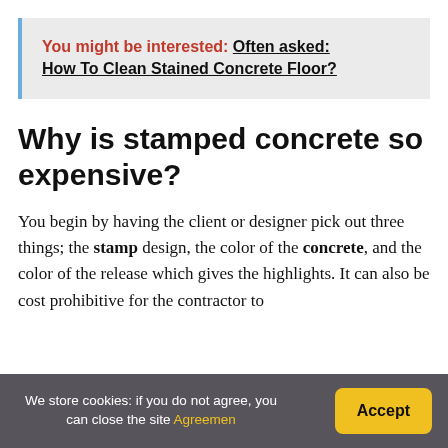You might be interested: Often asked: How To Clean Stained Concrete Floor?
Why is stamped concrete so expensive?
You begin by having the client or designer pick out three things; the stamp design, the color of the concrete, and the color of the release which gives the highlights. It can also be cost prohibitive for the contractor to
We store cookies: if you do not agree, you can close the site Agreemen